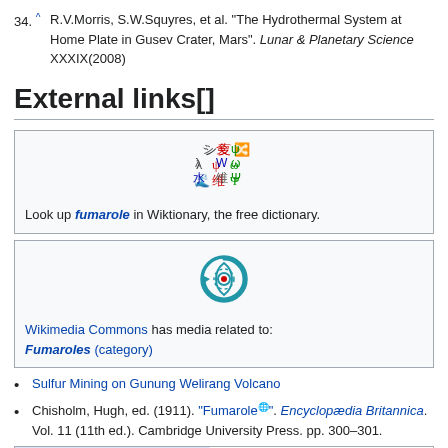34. ^ R.V.Morris, S.W.Squyres, et al. "The Hydrothermal System at Home Plate in Gusev Crater, Mars". Lunar & Planetary Science XXXIX(2008)
External links[]
[Figure (logo): Wiktionary logo with Japanese characters]
Look up fumarole in Wiktionary, the free dictionary.
[Figure (logo): Wikimedia Commons logo]
Wikimedia Commons has media related to: Fumaroles (category)
Sulfur Mining on Gunung Welirang Volcano
Chisholm, Hugh, ed. (1911). "Fumarole". Encyclopædia Britannica. Vol. 11 (11th ed.). Cambridge University Press. pp. 300–301.
| Authority control: National libraries | Germany |
| --- | --- |
CC© cookies police